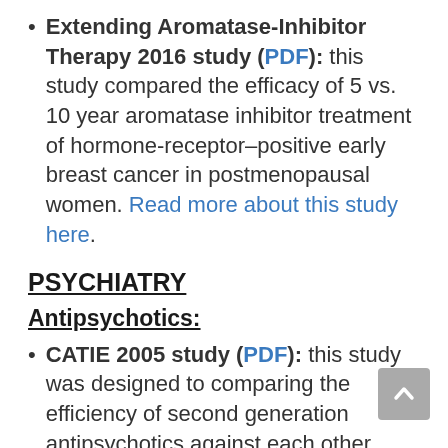Extending Aromatase-Inhibitor Therapy 2016 study (PDF): this study compared the efficacy of 5 vs. 10 year aromatase inhibitor treatment of hormone-receptor–positive early breast cancer in postmenopausal women. Read more about this study here.
PSYCHIATRY
Antipsychotics:
CATIE 2005 study (PDF): this study was designed to comparing the efficiency of second generation antipsychotics against each other (using a first generation medication as